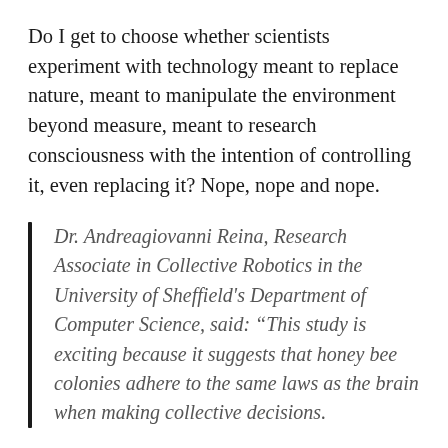Do I get to choose whether scientists experiment with technology meant to replace nature, meant to manipulate the environment beyond measure, meant to research consciousness with the intention of controlling it, even replacing it? Nope, nope and nope.
Dr. Andreagiovanni Reina, Research Associate in Collective Robotics in the University of Sheffield's Department of Computer Science, said: “This study is exciting because it suggests that honey bee colonies adhere to the same laws as the brain when making collective decisions.